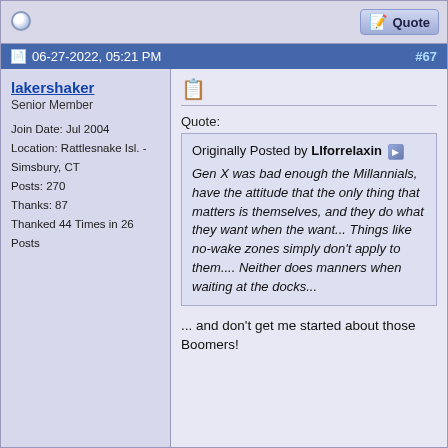06-27-2022, 05:21 PM  #67
lakershaker
Senior Member

Join Date: Jul 2004
Location: Rattlesnake Isl. - Simsbury, CT
Posts: 270
Thanks: 87
Thanked 44 Times in 26 Posts
Quote:
Originally Posted by LIforrelaxin
Gen X was bad enough the Millannials, have the attitude that the only thing that matters is themselves, and they do what they want when the want... Things like no-wake zones simply don't apply to them.... Neither does manners when waiting at the docks...
... and don't get me started about those Boomers!